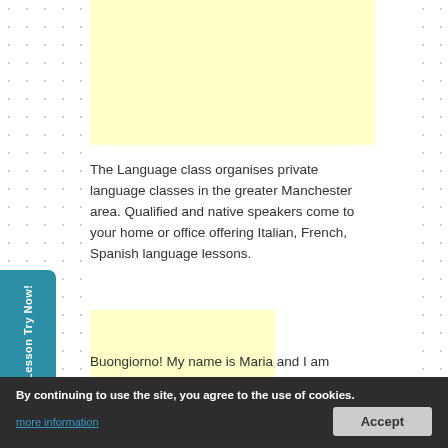[Figure (other): Yellow advertisement block at the top of the page]
The Language class organises private language classes in the greater Manchester area. Qualified and native speakers come to your home or office offering Italian, French, Spanish language lessons.
[Figure (other): Yellow advertisement block in the lower left area]
Maria Romanelli – Italian
Buongiorno! My name is Maria and I am originally from
By continuing to use the site, you agree to the use of cookies.
more information
Accept